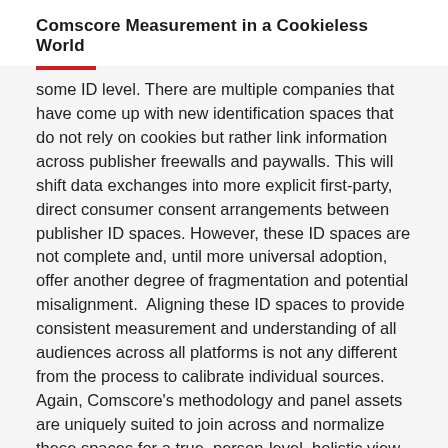Comscore Measurement in a Cookieless World
some ID level. There are multiple companies that have come up with new identification spaces that do not rely on cookies but rather link information across publisher freewalls and paywalls. This will shift data exchanges into more explicit first-party, direct consumer consent arrangements between publisher ID spaces. However, these ID spaces are not complete and, until more universal adoption, offer another degree of fragmentation and potential misalignment.  Aligning these ID spaces to provide consistent measurement and understanding of all audiences across all platforms is not any different from the process to calibrate individual sources. Again, Comscore's methodology and panel assets are uniquely suited to join across and normalize these spaces for a true, person-level, holistic view. This not only helps to ensure consistent audience measurement and validation but can also help bridge the gap to ensure more consistent